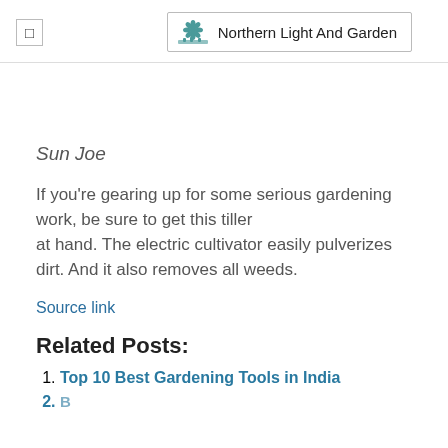Northern Light And Garden
Sun Joe
If you're gearing up for some serious gardening work, be sure to get this tiller at hand. The electric cultivator easily pulverizes dirt. And it also removes all weeds.
Source link
Related Posts:
Top 10 Best Gardening Tools in India